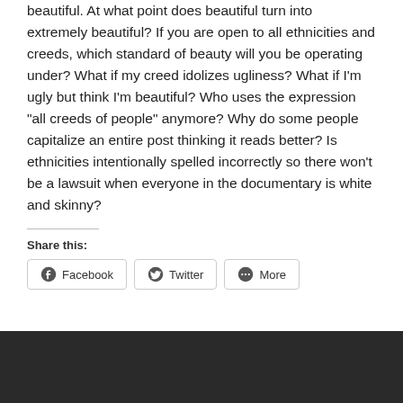beautiful.  At what point does beautiful turn into extremely beautiful?  If you are open to all ethnicities and creeds, which standard of beauty will you be operating under?  What if my creed idolizes ugliness?  What if I'm ugly but think I'm beautiful?  Who uses the expression "all creeds of people" anymore?  Why do some people capitalize an entire post thinking it reads better?   Is ethnicities intentionally spelled incorrectly so there won't be a lawsuit when everyone in the documentary is white and skinny?
Share this:
[Figure (other): Social share buttons: Facebook, Twitter, More]